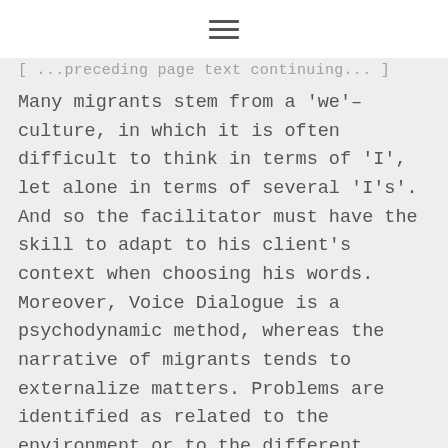≡
[ ...preceding page text... ]
Many migrants stem from a 'we'-culture, in which it is often difficult to think in terms of 'I', let alone in terms of several 'I's'. And so the facilitator must have the skill to adapt to his client's context when choosing his words. Moreover, Voice Dialogue is a psychodynamic method, whereas the narrative of migrants tends to externalize matters. Problems are identified as related to the environment or to the different countries of origin.
The direct consequence of these issues is the necessity for the facilitator to introduce these external factors in the sessions, for example by giving voice to the opinion of the family.